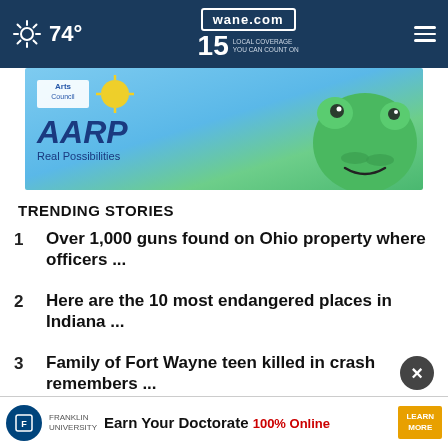74° wane.com 15 LOCAL COVERAGE YOU CAN COUNT ON
[Figure (illustration): AARP advertisement banner with arts council logo, sun graphic, AARP logo and tagline 'Real Possibilities', and cartoon frog character on green/blue background]
TRENDING STORIES
1 Over 1,000 guns found on Ohio property where officers ...
2 Here are the 10 most endangered places in Indiana ...
3 Family of Fort Wayne teen killed in crash remembers ...
4 Opened for catered ...
[Figure (screenshot): Franklin University advertisement overlay: 'Earn Your Doctorate 100% Online' with Learn More button]